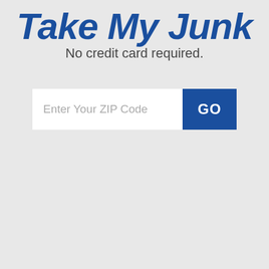Take My Junk
No credit card required.
[Figure (screenshot): ZIP code input field with placeholder text 'Enter Your ZIP Code' and a blue 'GO' button on the right]